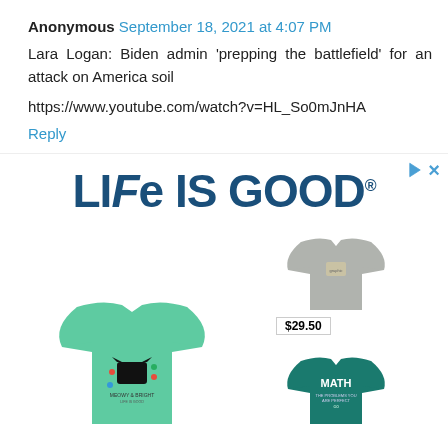Anonymous September 18, 2021 at 4:07 PM
Lara Logan: Biden admin 'prepping the battlefield' for an attack on America soil
https://www.youtube.com/watch?v=HL_So0mJnHA
Reply
[Figure (illustration): Life is Good brand advertisement showing the Life is Good logo in dark blue, a mint green long-sleeve t-shirt with a cat graphic reading 'Meowy & Bright' priced at $14.99, a gray t-shirt priced at $29.50, and a teal t-shirt with 'MATH' text priced at $29.50.]